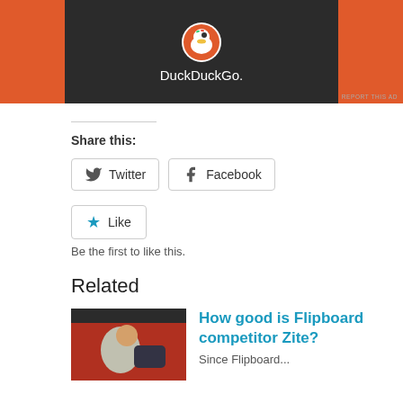[Figure (screenshot): DuckDuckGo advertisement banner with orange background and dark center panel showing the DuckDuckGo duck logo and wordmark in white]
REPORT THIS AD
Share this:
Twitter
Facebook
Like
Be the first to like this.
Related
[Figure (photo): A man looking at a tablet device]
How good is Flipboard competitor Zite?
Since Flipboard...